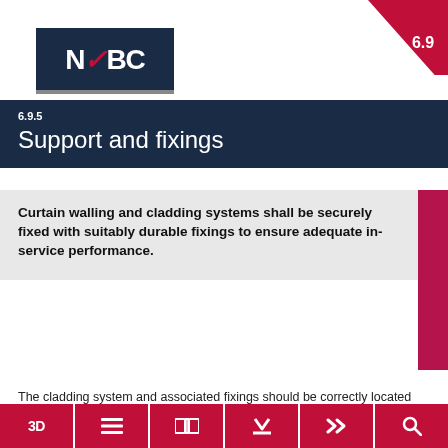[Figure (logo): NHBC logo - dark navy rectangle with white text NHBC and red stylized checkmark, with grey underline]
[Figure (other): Section badge showing number 6.9 in white on dark pink/crimson diamond/chevron shape in top right corner]
6.9.5
Support and fixings
Curtain walling and cladding systems shall be securely fixed with suitably durable fixings to ensure adequate in-service performance.
The cladding system and associated fixings should be correctly located and securely fixed in accordance with the design and the manufacturer's recommendations. Fixings and supports, including the type, size and positioning of anchors, fixing rails, frames, fixings, fasteners and bracketry, should be in accordance with the design, and:
3D | menu | book | down | forward | search navigation icons